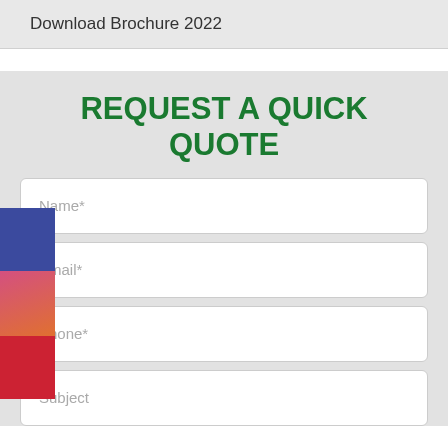Download Brochure 2022
REQUEST A QUICK QUOTE
Name*
Email*
Phone*
Subject